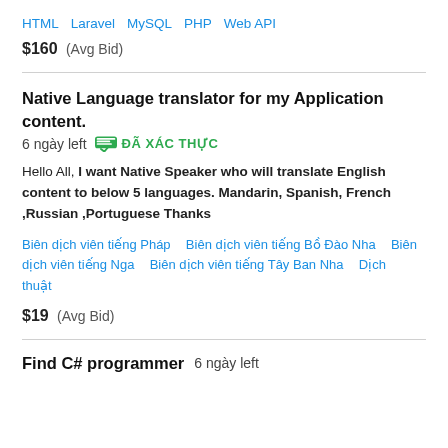HTML   Laravel   MySQL   PHP   Web API
$160  (Avg Bid)
Native Language translator for my Application content.  6 ngày left  ĐÃ XÁC THỰC
Hello All, I want Native Speaker who will translate English content to below 5 languages. Mandarin, Spanish, French ,Russian ,Portuguese Thanks
Biên dịch viên tiếng Pháp   Biên dịch viên tiếng Bồ Đào Nha   Biên dịch viên tiếng Nga   Biên dịch viên tiếng Tây Ban Nha   Dịch thuật
$19  (Avg Bid)
Find C# programmer  6 ngày left